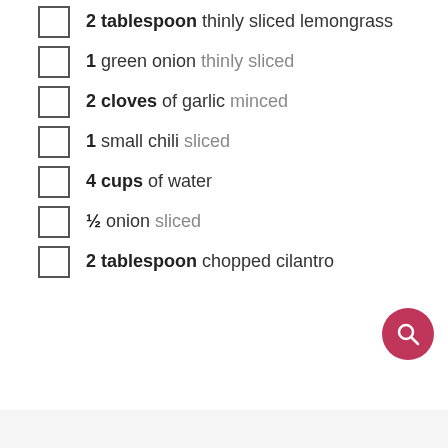2 tablespoon thinly sliced lemongrass
1 green onion thinly sliced
2 cloves of garlic minced
1 small chili sliced
4 cups of water
½ onion sliced
2 tablespoon chopped cilantro